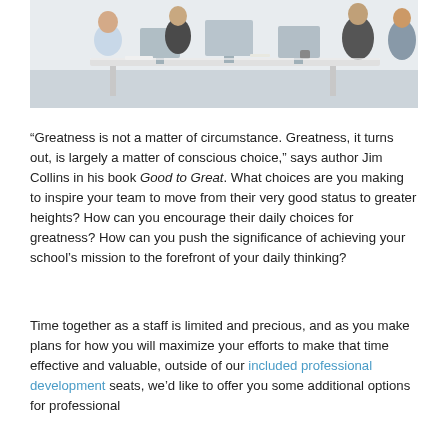[Figure (photo): Office/team meeting scene: several people sitting and standing around a white table with computers/monitors in a bright workspace.]
“Greatness is not a matter of circumstance. Greatness, it turns out, is largely a matter of conscious choice,” says author Jim Collins in his book Good to Great. What choices are you making to inspire your team to move from their very good status to greater heights? How can you encourage their daily choices for greatness? How can you push the significance of achieving your school’s mission to the forefront of your daily thinking?
Time together as a staff is limited and precious, and as you make plans for how you will maximize your efforts to make that time effective and valuable, outside of our included professional development seats, we’d like to offer you some additional options for professional